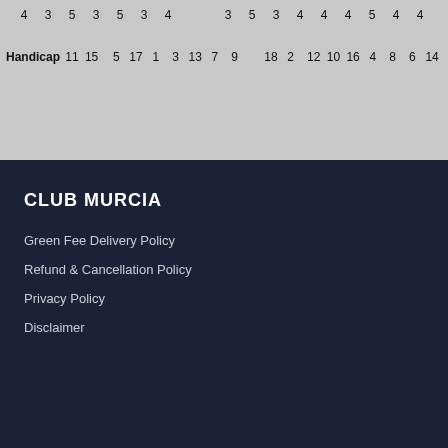|  | 4 | 3 | 5 | 3 | 5 | 3 | 4 |  | 3 | 5 | 3 | 4 | 4 | 4 | 5 | 4 | 4 |
| Handicap | 11 | 15 | 5 | 17 | 1 | 3 | 13 | 7 | 9 | 18 | 2 | 12 | 10 | 16 | 4 | 8 | 6 | 14 |
CLUB MURCIA
Green Fee Delivery Policy
Refund & Cancellation Policy
Privacy Policy
Disclaimer